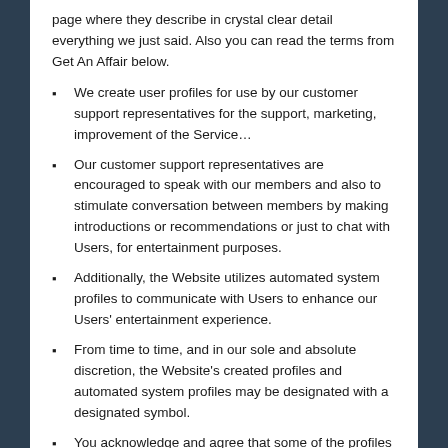page where they describe in crystal clear detail everything we just said. Also you can read the terms from Get An Affair below.
We create user profiles for use by our customer support representatives for the support, marketing, improvement of the Service…
Our customer support representatives are encouraged to speak with our members and also to stimulate conversation between members by making introductions or recommendations or just to chat with Users, for entertainment purposes.
Additionally, the Website utilizes automated system profiles to communicate with Users to enhance our Users' entertainment experience.
From time to time, and in our sole and absolute discretion, the Website's created profiles and automated system profiles may be designated with a designated symbol.
You acknowledge and agree that some of the profiles posted on the Website that you may communicate with as a Registered User may be fictitious.
The messages they send are computer generated.